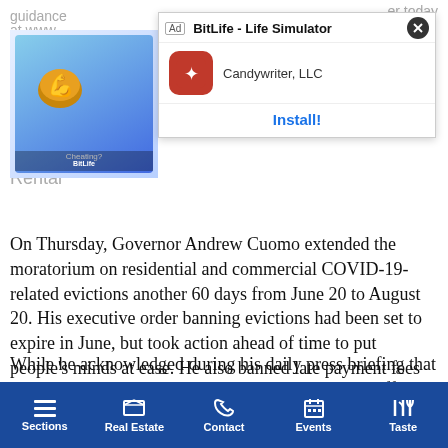guidance ... er today at www. ... Rental
[Figure (screenshot): Mobile app advertisement overlay for BitLife - Life Simulator by Candywriter, LLC with Install! button]
On Thursday, Governor Andrew Cuomo extended the moratorium on residential and commercial COVID-19-related evictions another 60 days from June 20 to August 20. His executive order banning evictions had been set to expire in June, but took action ahead of time to put people’s minds at ease. He also banned late payment fees and made it so that tenants may use their security deposits toward rent.
While he acknowledged during his daily press briefing that landlords with mortgages and utilities to pay will suffer the brunt of the rental relief, he said the state is working with
Sections   Real Estate   Contact   Events   Taste